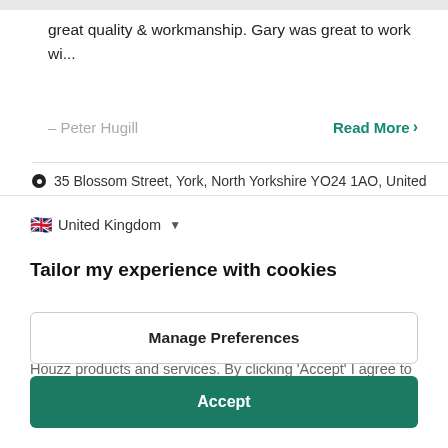great quality & workmanship. Gary was great to work wi...
– Peter Hugill
Read More >
35 Blossom Street, York, North Yorkshire YO24 1AO, United
United Kingdom
Tailor my experience with cookies
Houzz uses cookies and similar technologies to personalise my experience, serve me relevant content, and improve Houzz products and services. By clicking 'Accept' I agree to this, as further described in the Houzz Cookie Policy. I can reject non-
Manage Preferences
Accept